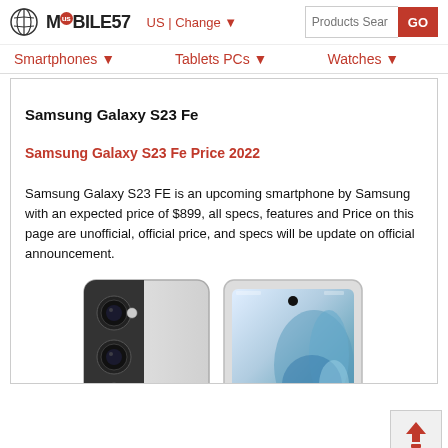MOBILE57 US | Change ▼  [Products Search] GO  Smartphones ▼  Tablets PCs ▼  Watches ▼
Samsung Galaxy S23 Fe
Samsung Galaxy S23 Fe Price 2022
Samsung Galaxy S23 FE is an upcoming smartphone by Samsung with an expected price of $899, all specs, features and Price on this page are unofficial, official price, and specs will be update on official announcement.
[Figure (photo): Samsung Galaxy S23 FE smartphone shown from back (camera triple lens side) and front (screen side), white/light color variant]